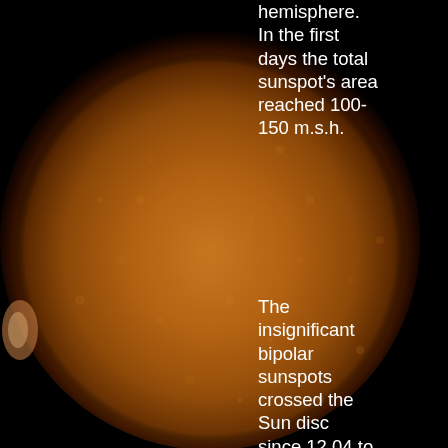[Figure (photo): Full-disk image of the Sun showing the solar surface with granulation texture, set against a black background. The Sun appears in warm orange/brown tones. A label 'NOAA 10335' is overlaid on the solar disk near the center-right area.]
hemisphere. In the first days the total sunspot's area reached 100-150 m.s.h.
The insignificant bipolar sunspots crossed the Sun disc since 12.04 to 21.04.03, along the high latitudes of the Southern hemisphere.
The small sunspot with oblong penumbra